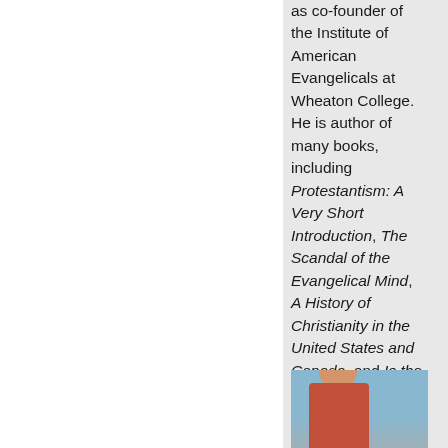as co-founder of the Institute of American Evangelicals at Wheaton College. He is author of many books, including Protestantism: A Very Short Introduction, The Scandal of the Evangelical Mind, A History of Christianity in the United States and Canada, and Is the Reformation Over?: An Evangelical Assessment of Contemporary Roman Catholicism.
[Figure (photo): Partial photo of a person, visible from roughly chest up, wearing red/orange clothing, with blue sky background.]